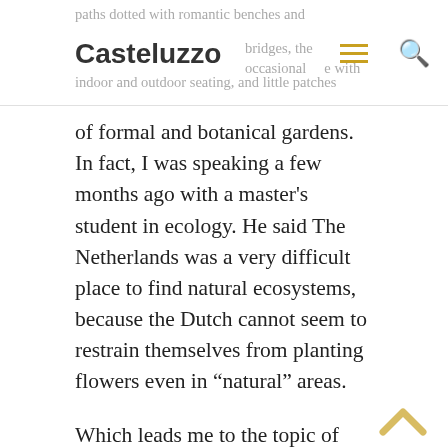paths dotted with romantic benches and bridges, the occasional e with indoor and outdoor seating, and little patches
Casteluzzo
of formal and botanical gardens. In fact, I was speaking a few months ago with a master's student in ecology. He said The Netherlands was a very difficult place to find natural ecosystems, because the Dutch cannot seem to restrain themselves from planting flowers even in "natural" areas.
Which leads me to the topic of this post: the hofjes, or little gardens of The Hague. Hofjes are hidden courtyard gardens, usually surrounded by (tiny, adorable) houses for elderly women. They date back to the Middle Ages, and originally served as a form of social housing. In fact, that's still the function most of them serve, and the gender and age